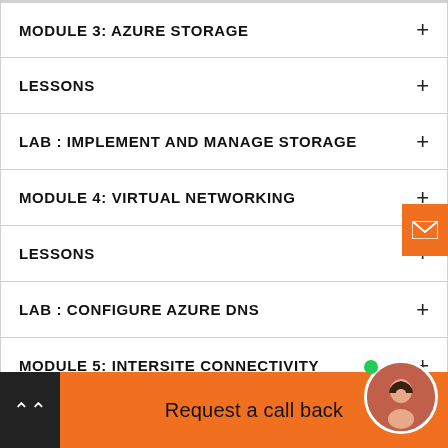MODULE 3: AZURE STORAGE +
LESSONS +
LAB : IMPLEMENT AND MANAGE STORAGE +
MODULE 4: VIRTUAL NETWORKING +
LESSONS +
LAB : CONFIGURE AZURE DNS +
MODULE 5: INTERSITE CONNECTIVITY +
LESSONS +
Request a call back